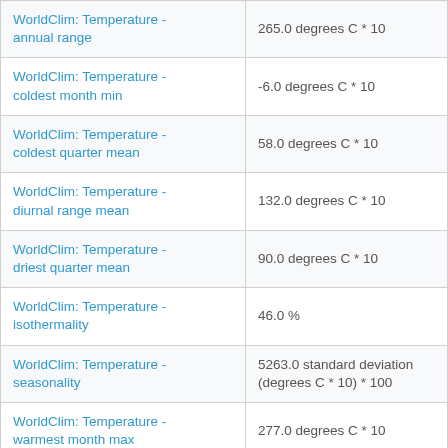| Feature | Value |
| --- | --- |
| WorldClim: Temperature - annual range | 265.0 degrees C * 10 |
| WorldClim: Temperature - coldest month min | -6.0 degrees C * 10 |
| WorldClim: Temperature - coldest quarter mean | 58.0 degrees C * 10 |
| WorldClim: Temperature - diurnal range mean | 132.0 degrees C * 10 |
| WorldClim: Temperature - driest quarter mean | 90.0 degrees C * 10 |
| WorldClim: Temperature - isothermality | 46.0 % |
| WorldClim: Temperature - seasonality | 5263.0 standard deviation (degrees C * 10) * 100 |
| WorldClim: Temperature - warmest month max | 277.0 degrees C * 10 |
| WorldClim: Temperature - warmest quarter mean | 193.0 degrees C * 10 |